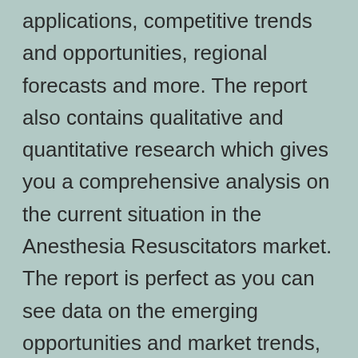applications, competitive trends and opportunities, regional forecasts and more. The report also contains qualitative and quantitative research which gives you a comprehensive analysis on the current situation in the Anesthesia Resuscitators market. The report is perfect as you can see data on the emerging opportunities and market trends, based on which you can make business and investment decisions in the global Anesthesia Resuscitators market.
The report offers detailed information on the global Anesthesia Resuscitators market